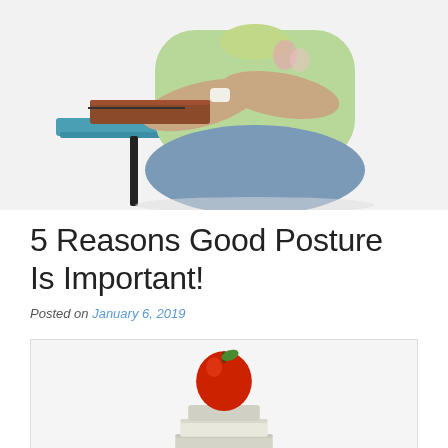[Figure (photo): A person sitting in a school chair with arms crossed, wearing a light green top and jeans. A book is on the desk attached to the chair. White background.]
5 Reasons Good Posture Is Important!
Posted on January 6, 2019
[Figure (photo): A red apple sitting on top of a stack of books, balanced on a dark round object. White background.]